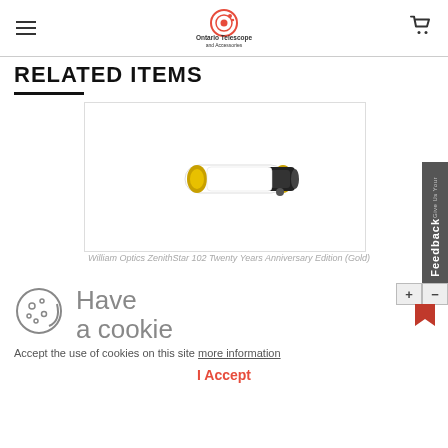Ontario Telescope and Accessories
RELATED ITEMS
[Figure (photo): A white and gold telescope (William Optics ZenithStar 102 Twenty Years Anniversary Edition Gold) shown horizontally against a white background inside a product card.]
William Optics ZenithStar 102 Twenty Years Anniversary Edition (Gold)
Have a cookie
Accept the use of cookies on this site more information
I Accept